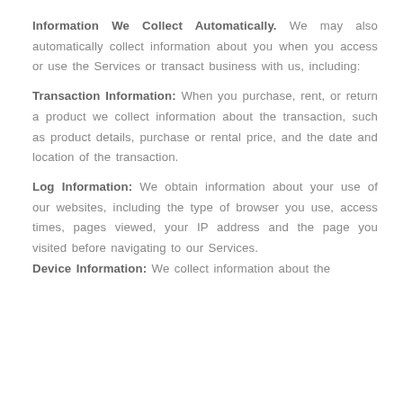Information We Collect Automatically. We may also automatically collect information about you when you access or use the Services or transact business with us, including:
Transaction Information: When you purchase, rent, or return a product we collect information about the transaction, such as product details, purchase or rental price, and the date and location of the transaction.
Log Information: We obtain information about your use of our websites, including the type of browser you use, access times, pages viewed, your IP address and the page you visited before navigating to our Services.
Device Information: We collect information about the